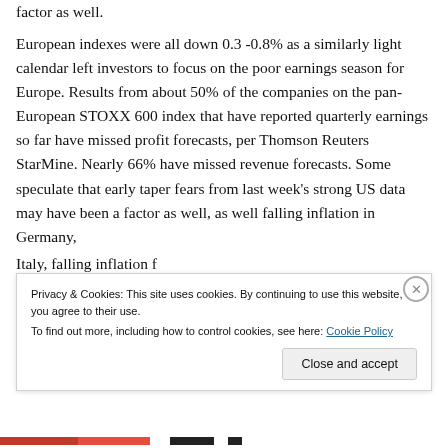factor as well.
European indexes were all down 0.3 -0.8% as a similarly light calendar left investors to focus on the poor earnings season for Europe. Results from about 50% of the companies on the pan-European STOXX 600 index that have reported quarterly earnings so far have missed profit forecasts, per Thomson Reuters StarMine. Nearly 66% have missed revenue forecasts. Some speculate that early taper fears from last week’s strong US data may have been a factor as well, as well falling inflation in Germany,
Italy, falling inflation f...
Privacy & Cookies: This site uses cookies. By continuing to use this website, you agree to their use.
To find out more, including how to control cookies, see here: Cookie Policy